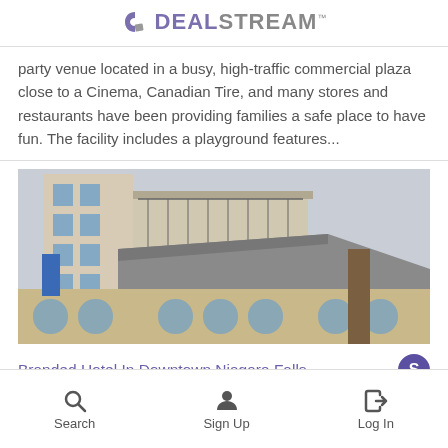DEALSTREAM™
party venue located in a busy, high-traffic commercial plaza close to a Cinema, Canadian Tire, and many stores and restaurants have been providing families a safe place to have fun. The facility includes a playground features...
[Figure (photo): Photo of a multi-story hotel building exterior in downtown Niagara Falls, showing stone facade with arched windows and balconies.]
Branded Hotel In Downtown Niagara Falls
Businesses For Sale  #  Hotels  Niagara Falls, ON
Search  Sign Up  Log In